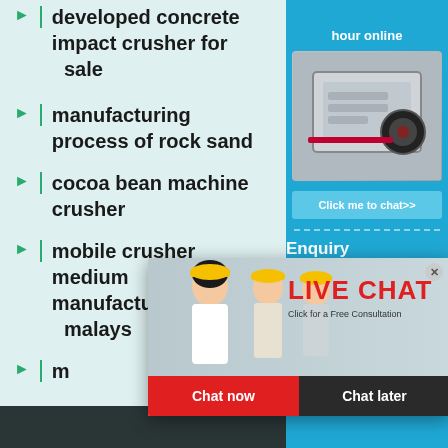developed concrete impact crusher for sale
manufacturing process of rock sand
cocoa bean machine crusher
mobile crusher medium manufacturers malays…
m…
[Figure (screenshot): Live Chat popup overlay with workers in hard hats, red LIVE CHAT text, 'Click for a Free Consultation' subtitle, Chat now (red) and Chat later (dark) buttons]
[Figure (screenshot): Right side panel showing 'hour online' text, industrial crusher machine image, 'Click me to chat>>' button, 'Enquiry' section header, and partial email text]